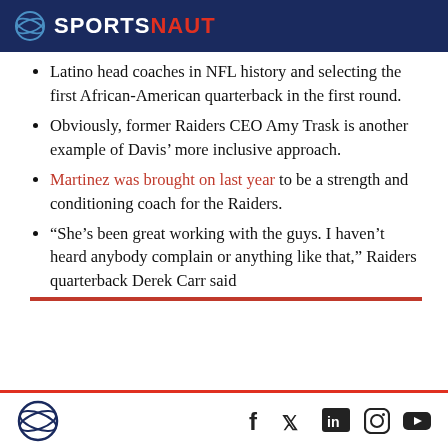SPORTSNAUT
Latino head coaches in NFL history and selecting the first African-American quarterback in the first round.
Obviously, former Raiders CEO Amy Trask is another example of Davis’ more inclusive approach.
Martinez was brought on last year to be a strength and conditioning coach for the Raiders.
“She’s been great working with the guys. I haven’t heard anybody complain or anything like that,” Raiders quarterback Derek Carr said
Sportsnaut logo and social media icons: Facebook, Twitter, LinkedIn, Instagram, YouTube